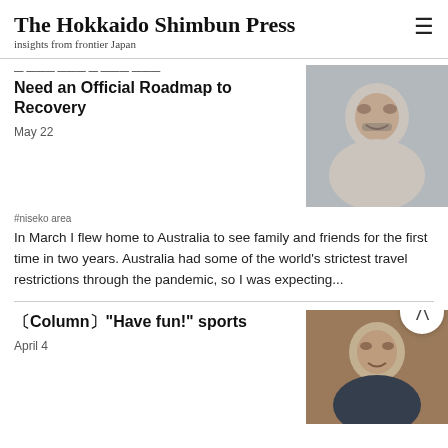The Hokkaido Shimbun Press
insights from frontier Japan
Need an Official Roadmap to Recovery
May 22
[Figure (photo): Headshot of a man in a dark blazer with a beard and mustache, smiling]
#niseko area
In March I flew home to Australia to see family and friends for the first time in two years. Australia had some of the world's strictest travel restrictions through the pandemic, so I was expecting...
〔Column〕"Have fun!" sports
April 4
[Figure (photo): Headshot of a man in a suit smiling, with a circular back-to-top button overlay]